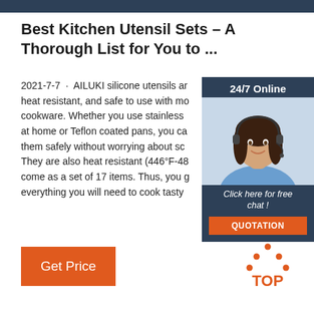Best Kitchen Utensil Sets – A Thorough List for You to ...
2021-7-7 · AILUKI silicone utensils are heat resistant, and safe to use with most cookware. Whether you use stainless at home or Teflon coated pans, you can use them safely without worrying about scratching. They are also heat resistant (446°F-48...) come as a set of 17 items. Thus, you get everything you will need to cook tasty...
[Figure (other): 24/7 Online chat widget with a woman wearing a headset, dark blue background, with 'Click here for free chat!' text and an orange QUOTATION button]
[Figure (other): Orange 'Get Price' button]
[Figure (logo): TOP logo with orange dots forming a house/triangle shape above the word TOP]